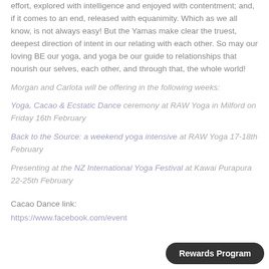effort, explored with intelligence and enjoyed with contentment; and, if it comes to an end, released with equanimity. Which as we all know, is not always easy! But the Yamas make clear the truest, deepest direction of intent in our relating with each other. So may our loving BE our yoga, and yoga be our guide to relationships that nourish our selves, each other, and through that, the whole world!
Morgan and Carlota will be offering in the following weeks:
Yoga, Cacao & Ecstatic Dance ceremony at RAW Yoga in Milford on Friday 16th February
Back to the Source: a weekend yoga intensive at RAW Yoga 17-18th February
Presenting at the NZ International Yoga Festival at Kawai Purapura 22-25th February
Cacao Dance link:
https://www.facebook.com/event